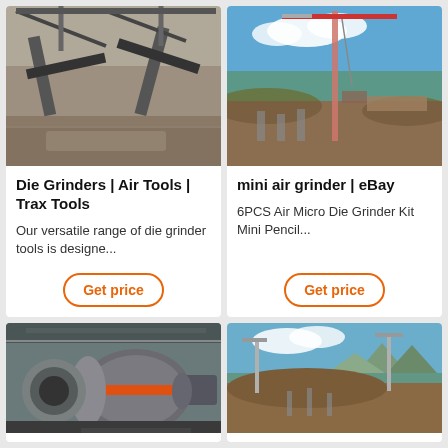[Figure (photo): Industrial conveyor and crushing equipment at a mining or quarry site, overhead steel structures]
Die Grinders | Air Tools | Trax Tools
Our versatile range of die grinder tools is designe...
[Figure (photo): Construction site with a red and white tower crane, foundations being dug, blue sky]
mini air grinder | eBay
6PCS Air Micro Die Grinder Kit Mini Pencil...
[Figure (photo): Industrial ball mill or grinding machine in a factory hall, large grey cylindrical equipment]
[Figure (photo): Construction site with tower crane in background, earthworks and foundation work, mountains and blue sky]